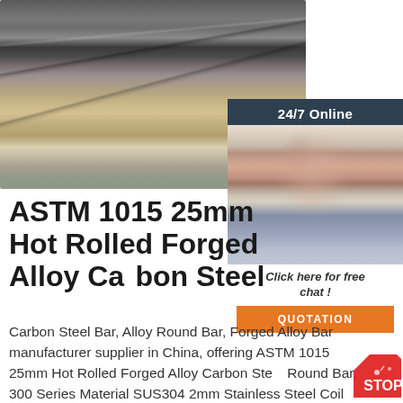[Figure (photo): Close-up photo of stainless steel flat bars/coils stacked, showing metallic surface with grey tones and some sandy/granular material below]
[Figure (photo): 24/7 Online customer service widget with a woman wearing a headset smiling, dark blue-grey background header, 'Click here for free chat!' text, and orange QUOTATION button]
ASTM 1015 25mm Hot Rolled Forged Alloy Carbon Steel
Carbon Steel Bar, Alloy Round Bar, Forged Alloy Bar manufacturer supplier in China, offering ASTM 1015 25mm Hot Rolled Forged Alloy Carbon Steel Round Bar, 300 Series Material SUS304 2mm Stainless Steel Coil 2b Ba Hairline Finish, High